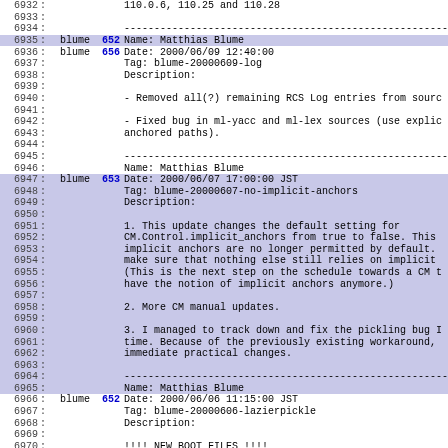Source code commit log view, lines 6932-6972, showing CVS/revision history entries for blume with revisions 652, 656, 653, 652 including dates, tags, and descriptions about RCS log entries, ml-yacc/ml-lex bugfix, implicit anchors default change, CM manual updates, pickling bug fix, and new boot files.